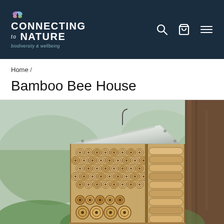Connecting to Nature — biodiversity & wellbeing header with search, cart, and menu icons
Home /
Bamboo Bee House
[Figure (photo): A wooden bamboo bee house with a galvanized metal roof, filled with bamboo tubes for solitary bees to nest in, hanging outdoors near a tree trunk with green foliage in the background.]